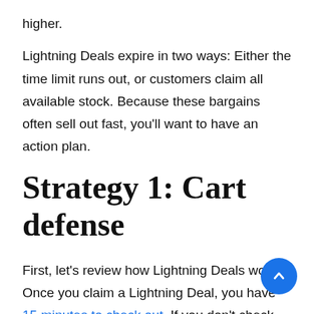higher.
Lightning Deals expire in two ways: Either the time limit runs out, or customers claim all available stock. Because these bargains often sell out fast, you'll want to have an action plan.
Strategy 1: Cart defense
First, let's review how Lightning Deals work. Once you claim a Lightning Deal, you have 15 minutes to check out. If you don't check out in time, the deal drops from your cart and is back up